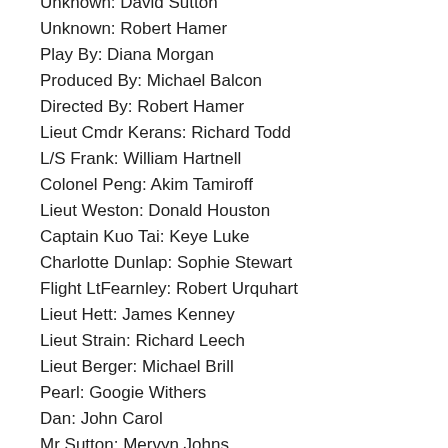Unknown: David Sutton
Unknown: Robert Hamer
Play By: Diana Morgan
Produced By: Michael Balcon
Directed By: Robert Hamer
Lieut Cmdr Kerans: Richard Todd
L/S Frank: William Hartnell
Colonel Peng: Akim Tamiroff
Lieut Weston: Donald Houston
Captain Kuo Tai: Keye Luke
Charlotte Dunlap: Sophie Stewart
Flight LtFearnley: Robert Urquhart
Lieut Hett: James Kenney
Lieut Strain: Richard Leech
Lieut Berger: Michael Brill
Pearl: Googie Withers
Dan: John Carol
Mr Sutton: Mervyn Johns
Mrs Sutton: Mary Merrall